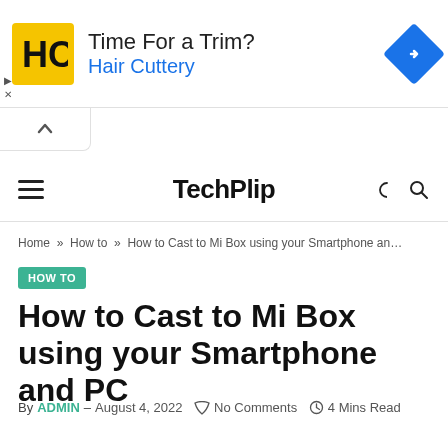[Figure (screenshot): Advertisement banner for Hair Cuttery: yellow logo with HC initials, text 'Time For a Trim? Hair Cuttery', blue diamond navigation icon on right, play/close controls on left.]
TechPlip
Home » How to » How to Cast to Mi Box using your Smartphone an...
HOW TO
How to Cast to Mi Box using your Smartphone and PC
By ADMIN – August 4, 2022  No Comments  4 Mins Read